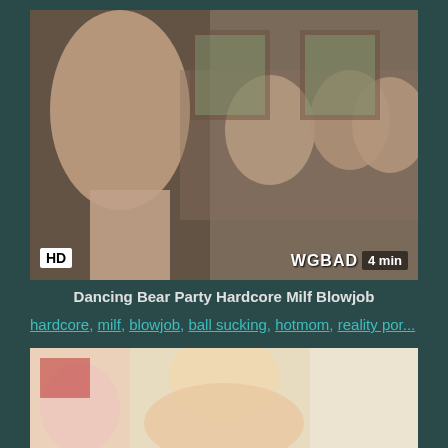[Figure (photo): Video thumbnail showing group scene with HD badge, WGBAD watermark, and 4 min duration label]
Dancing Bear Party Hardcore Milf Blowjob
hardcore, milf, blowjob, ball sucking, hotmom, reality por...
[Figure (photo): Second video thumbnail showing a blonde woman]